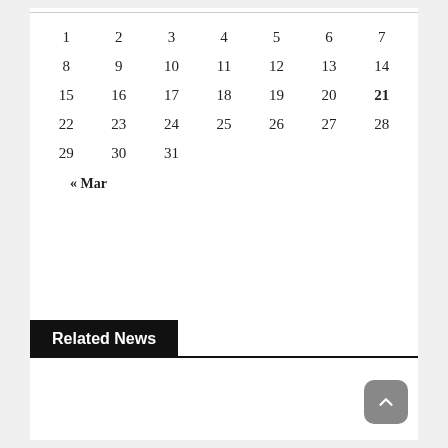| 1 | 2 | 3 | 4 | 5 | 6 | 7 |
| 8 | 9 | 10 | 11 | 12 | 13 | 14 |
| 15 | 16 | 17 | 18 | 19 | 20 | 21 |
| 22 | 23 | 24 | 25 | 26 | 27 | 28 |
| 29 | 30 | 31 |  |  |  |  |
« Mar
Related News